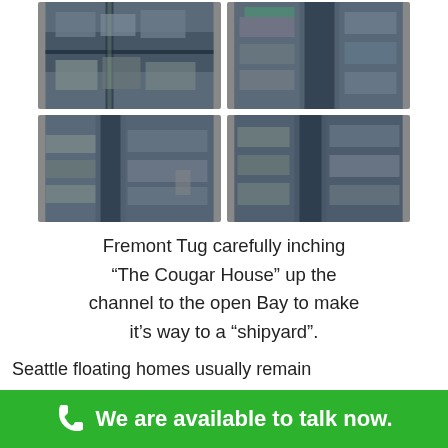[Figure (photo): Four aerial photos of a marina/houseboat community with floating homes along docks and water channels, arranged in a 2x2 grid]
Fremont Tug carefully inching “The Cougar House” up the channel to the open Bay to make it’s way to a “shipyard”.
Seattle floating homes usually remain
We are available to talk now.